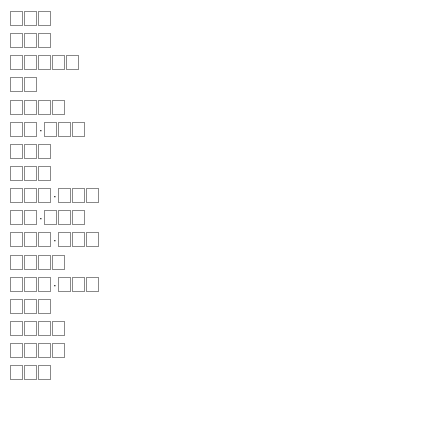[redacted line 1: 3 chars]
[redacted line 2: 3 chars]
[redacted line 3: 5 chars]
[redacted line 4: 2 chars]
[redacted line 5: 4 chars]
[redacted line 6: 2+3 chars with dot]
[redacted line 7: 3 chars]
[redacted line 8: 3 chars]
[redacted line 9: 3+3 chars with dot]
[redacted line 10: 2+3 chars with dot]
[redacted line 11: 3+3 chars with dot]
[redacted line 12: 4 chars]
[redacted line 13: 3+3 chars with dot]
[redacted line 14: 3 chars]
[redacted line 15: 4 chars]
[redacted line 16: 4 chars]
[redacted line 17: 3 chars]